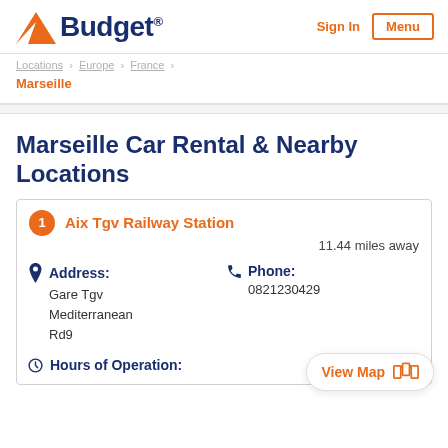[Figure (logo): Budget car rental logo with orange triangle and dark blue bold text 'Budget']
Sign In | Menu
Locations > Europe > France > Marseille
Marseille Car Rental & Nearby Locations
1 Aix Tgv Railway Station
11.44 miles away
Address: Gare Tgv Mediterranean Rd9
Phone: 0821230429
Hours of Operation: